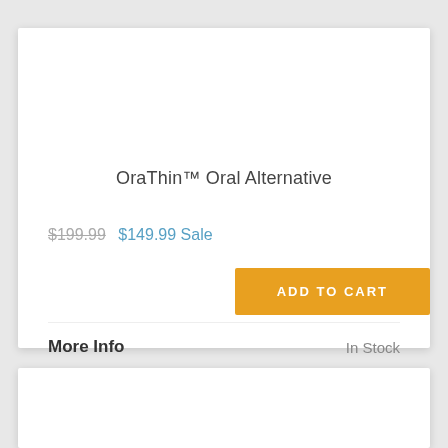OraThin™ Oral Alternative
$199.99  $149.99 Sale
ADD TO CART
More Info
In Stock